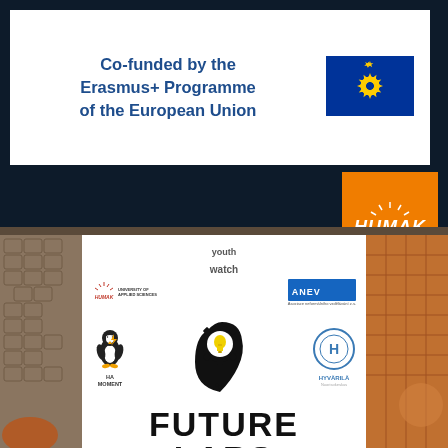[Figure (logo): Co-funded by the Erasmus+ Programme of the European Union banner with EU flag]
[Figure (logo): HUMAK University of Applied Sciences orange logo box]
[Figure (illustration): Future Labs brochure cover showing partner logos (YouthWatch, ANEV, HUMAK, Ha Moment, Hyvarilä) and a head with gear/lightbulb icon, with FUTURE LABS text, overlaid on cobblestone photo background]